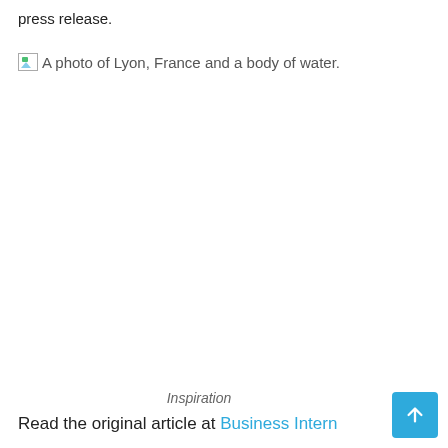press release.
[Figure (photo): A broken image placeholder with alt text: A photo of Lyon, France and a body of water.]
Inspiration
Read the original article at Business Intern